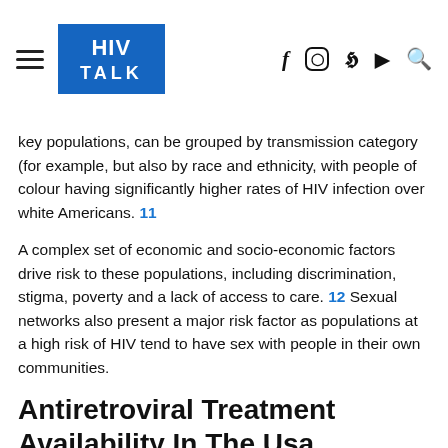HIV TALK
key populations, can be grouped by transmission category (for example, but also by race and ethnicity, with people of colour having significantly higher rates of HIV infection over white Americans. 11
A complex set of economic and socio-economic factors drive risk to these populations, including discrimination, stigma, poverty and a lack of access to care. 12  Sexual networks also present a major risk factor as populations at a high risk of HIV tend to have sex with people in their own communities.
Antiretroviral Treatment Availability In The Usa
In December 2014, the USA released guidelines recognising